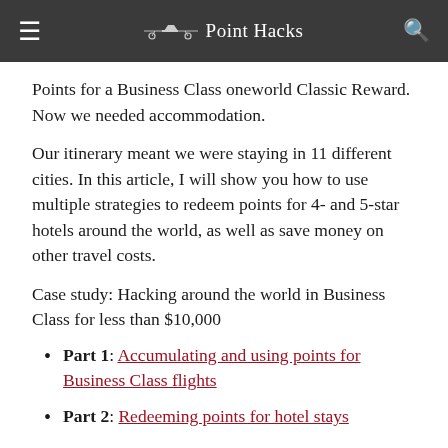Point Hacks
Points for a Business Class oneworld Classic Reward. Now we needed accommodation.
Our itinerary meant we were staying in 11 different cities. In this article, I will show you how to use multiple strategies to redeem points for 4- and 5-star hotels around the world, as well as save money on other travel costs.
Case study: Hacking around the world in Business Class for less than $10,000
Part 1: Accumulating and using points for Business Class flights
Part 2: Redeeming points for hotel stays
Part 3: ...